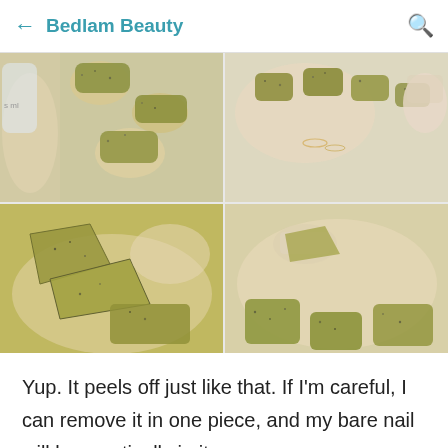Bedlam Beauty
[Figure (photo): Four-panel photo grid showing nail polish peeling off nails. Top-left: hand with olive/yellow-green glittery nail polish being applied or shown with a bottle. Top-right: hand showing nails with olive glitter polish and a delicate finger ring. Bottom-left: hand with nail polish peeling off in large pieces. Bottom-right: hand with remaining olive glitter polish with some peeled areas.]
Yup. It peels off just like that. If I'm careful, I can remove it in one piece, and my bare nail will be practically in its